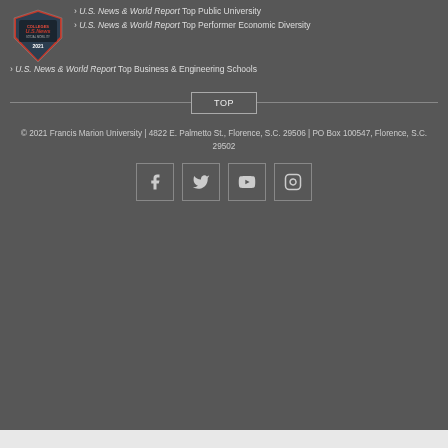[Figure (logo): U.S. News Social Mobility 2021 badge/seal for colleges]
U.S. News & World Report Top Public University
U.S. News & World Report Top Performer Economic Diversity
U.S. News & World Report Top Business & Engineering Schools
TOP
© 2021 Francis Marion University | 4822 E. Palmetto St., Florence, S.C. 29506 | PO Box 100547, Florence, S.C. 29502